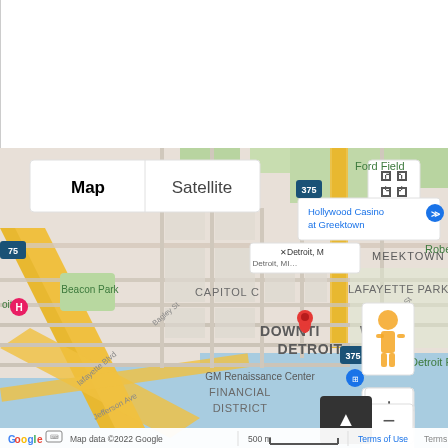[Figure (map): Google Maps screenshot showing Downtown Detroit, Michigan. The map shows Ford Field, Hollywood Casino at Greektown, Beacon Park, Capitol Center, Downtown Detroit, MEEKTOWN, Lafayette Park, GM Renaissance Center Financial District, and surrounding streets. A red location pin is placed in Downtown Detroit. Map controls include Map/Satellite toggle, zoom in/out, fullscreen, and Street View buttons. Map data ©2022 Google, scale showing 500m.]